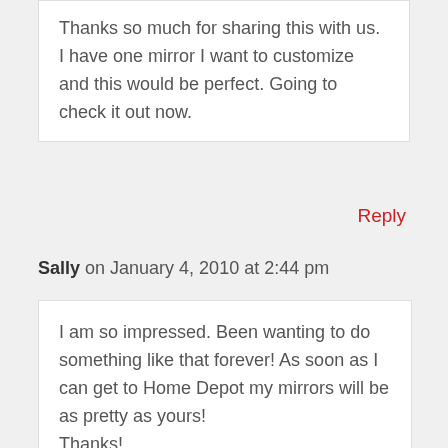Thanks so much for sharing this with us. I have one mirror I want to customize and this would be perfect. Going to check it out now.
Reply
Sally on January 4, 2010 at 2:44 pm
I am so impressed. Been wanting to do something like that forever! As soon as I can get to Home Depot my mirrors will be as pretty as yours!
Thanks!
Reply
winjes on January 4, 2010 at 12:41 pm